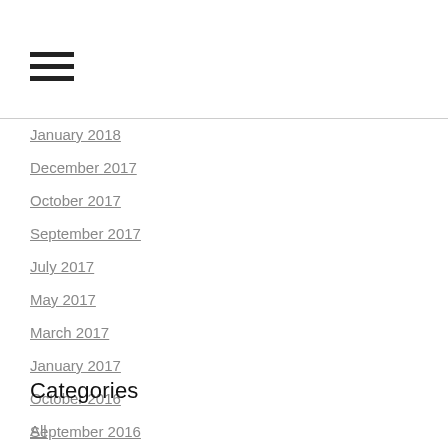[Figure (other): Hamburger menu icon with three horizontal bars]
January 2018
December 2017
October 2017
September 2017
July 2017
May 2017
March 2017
January 2017
October 2016
September 2016
April 2016
March 2016
February 2016
January 2016
Categories
All